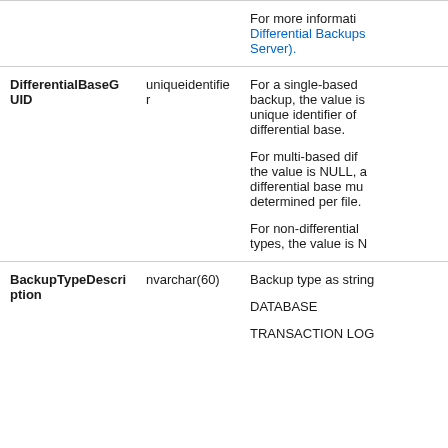| Column name | Data type | Description |
| --- | --- | --- |
|  |  | For more information, Differential Backups Server). |
| DifferentialBaseGUID | uniqueidentifier | For a single-based backup, the value is unique identifier of differential base.

For multi-based differential, the value is NULL, and differential base must be determined per file.

For non-differential types, the value is N |
| BackupTypeDescription | nvarchar(60) | Backup type as string

DATABASE

TRANSACTION LOG |